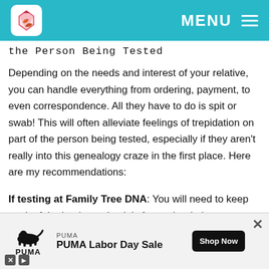MENU
the Person Being Tested
Depending on the needs and interest of your relative, you can handle everything from ordering, payment, to even correspondence. All they have to do is spit or swab! This will often alleviate feelings of trepidation on part of the person being tested, especially if they aren't really into this genealogy craze in the first place. Here are my recommendations:
If testing at Family Tree DNA: You will need to keep track of the log-in credentials for each relative.
[Figure (other): PUMA Labor Day Sale advertisement banner with Puma logo, shop now button, and close controls]